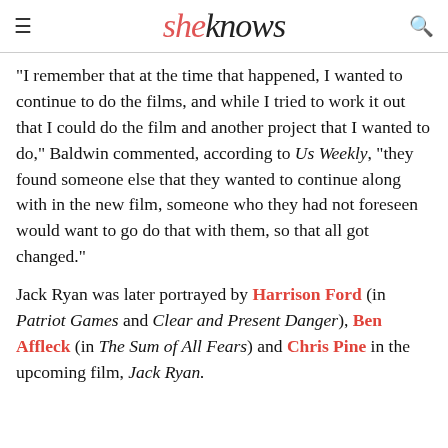sheknows
“I remember that at the time that happened, I wanted to continue to do the films, and while I tried to work it out that I could do the film and another project that I wanted to do,” Baldwin commented, according to Us Weekly, “they found someone else that they wanted to continue along with in the new film, someone who they had not foreseen would want to go do that with them, so that all got changed.”
Jack Ryan was later portrayed by Harrison Ford (in Patriot Games and Clear and Present Danger), Ben Affleck (in The Sum of All Fears) and Chris Pine in the upcoming film, Jack Ryan.